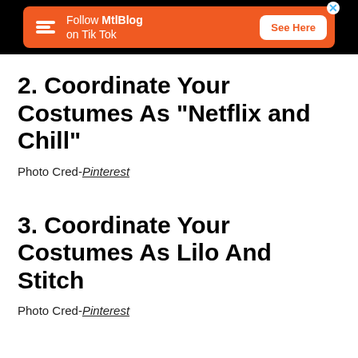[Figure (other): Advertisement banner: Follow MtlBlog on Tik Tok - See Here button]
2. Coordinate Your Costumes As "Netflix and Chill"
Photo Cred-Pinterest
3. Coordinate Your Costumes As Lilo And Stitch
Photo Cred-Pinterest